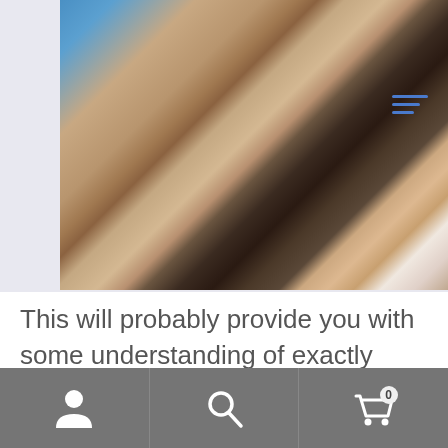[Figure (photo): A selfie photo of two young women smiling, one with blue hair and dramatic eye makeup wearing a black top with a necklace, and another with curly dark hair partially visible. A hamburger menu icon (three horizontal blue lines) is overlaid in the upper right of the image.]
This will probably provide you with some understanding of exactly exactly how their treatment solutions are going or if they need help getting specialized help.
Navigation bar with person icon, search icon, and cart icon with badge showing 0